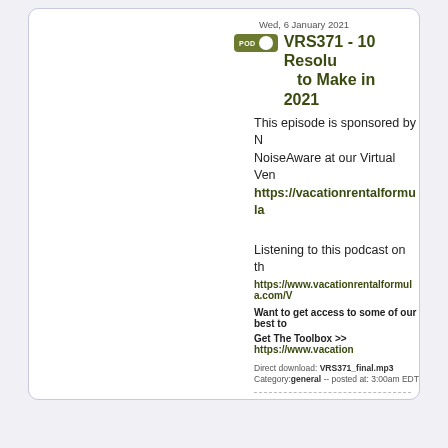Wed, 6 January 2021
VRS371 - 10 Resolu to Make in 2021
This episode is sponsored by NoiseAware at our Virtual Ven https://vacationrentalformula...
Listening to this podcast on the https://www.vacationrentalformula.com/V
Want to get access to some of our best to
Get The Toolbox >> https://www.vacation
Direct download: VRS371_final.mp3
Category:general -- posted at: 3:00am EDT